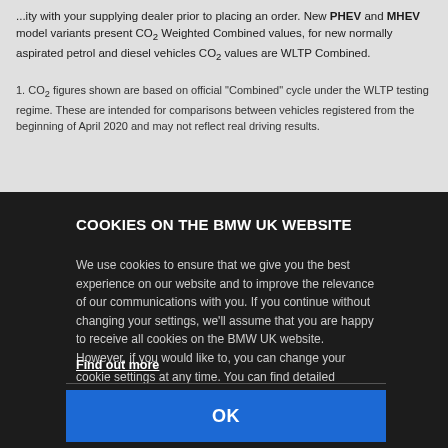...ity with your supplying dealer prior to placing an order. New PHEV and MHEV model variants present CO2 Weighted Combined values, for new normally aspirated petrol and diesel vehicles CO2 values are WLTP Combined.
1. CO2 figures shown are based on official "Combined" cycle under the WLTP testing regime. These are intended for comparisons between vehicles registered from the beginning of April 2020 and may not reflect real driving results.
COOKIES ON THE BMW UK WEBSITE
We use cookies to ensure that we give you the best experience on our website and to improve the relevance of our communications with you. If you continue without changing your settings, we'll assume that you are happy to receive all cookies on the BMW UK website. However, if you would like to, you can change your cookie settings at any time. You can find detailed information about how cookies are used on this website by clicking on 'Find out more'.
Find out more
OK